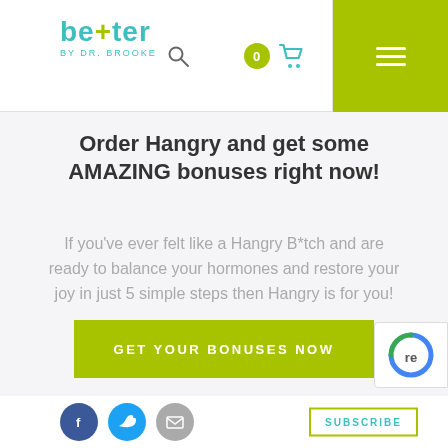[Figure (logo): Better by Dr. Brooke logo with teal text and lime green plus symbol, header navigation with cart badge showing 0, search icon, and lime green hamburger menu button]
Order Hangry and get some AMAZING bonuses right now!
If you’ve ever felt like a Hangry B*tch and are ready to balance your hormones and restore your joy in just 5 simple steps then Hangry is for you!
[Figure (other): Lime green CTA button with text GET YOUR BONUSES NOW]
[Figure (other): Social media icons for Facebook (dark blue), Twitter (light blue), and email/mail (gray), plus a SUBSCRIBE button with lime border on the right, and a partial reCAPTCHA badge]